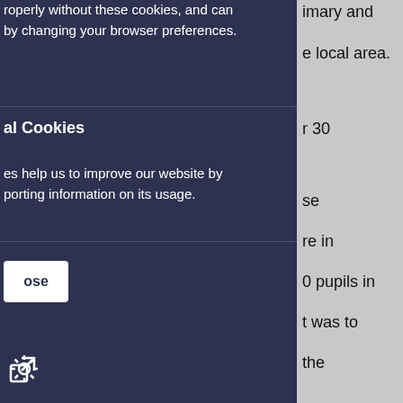roperly without these cookies, and can by changing your browser preferences.
al Cookies
es help us to improve our website by porting information on its usage.
ose
[external link icon]
imary and e local area. r 30 se re in 0 pupils in t was to the rs, and raise s they can